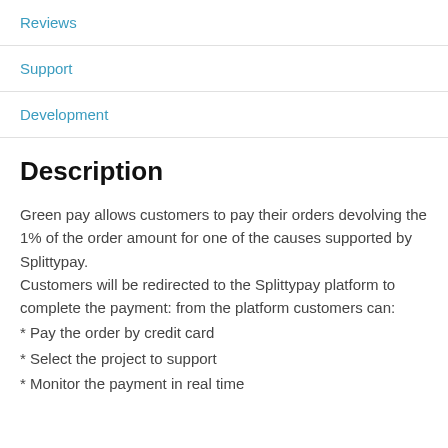Reviews
Support
Development
Description
Green pay allows customers to pay their orders devolving the 1% of the order amount for one of the causes supported by Splittypay.
Customers will be redirected to the Splittypay platform to complete the payment: from the platform customers can:
* Pay the order by credit card
* Select the project to support
* Monitor the payment in real time